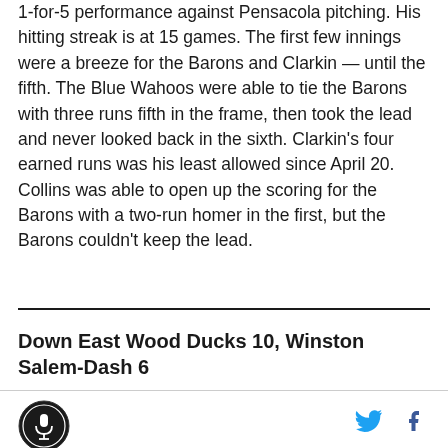1-for-5 performance against Pensacola pitching. His hitting streak is at 15 games. The first few innings were a breeze for the Barons and Clarkin — until the fifth. The Blue Wahoos were able to tie the Barons with three runs fifth in the frame, then took the lead and never looked back in the sixth. Clarkin's four earned runs was his least allowed since April 20. Collins was able to open up the scoring for the Barons with a two-run homer in the first, but the Barons couldn't keep the lead.
Down East Wood Ducks 10, Winston Salem-Dash 6
[Figure (logo): Circular sports logo with microphone icon in center]